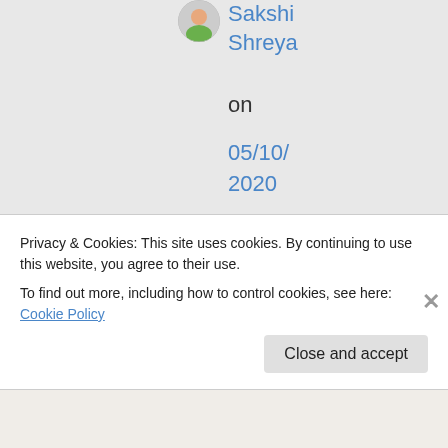[Figure (photo): User avatar/profile picture circle thumbnail]
Sakshi Shreya
on
05/10/2020
at
06:20
👍 0 👎
0
ℹ Rate This
Privacy & Cookies: This site uses cookies. By continuing to use this website, you agree to their use. To find out more, including how to control cookies, see here: Cookie Policy